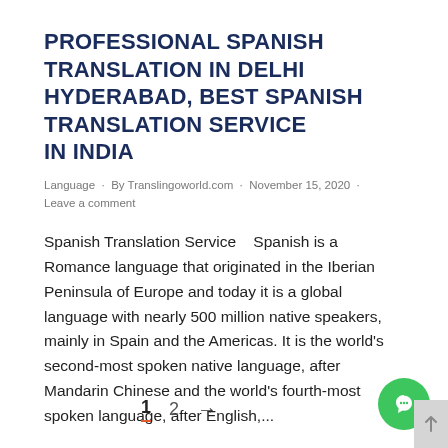PROFESSIONAL SPANISH TRANSLATION IN DELHI HYDERABAD, BEST SPANISH TRANSLATION SERVICE IN INDIA
Language · By Translingoworld.com · November 15, 2020 · Leave a comment
Spanish Translation Service   Spanish is a Romance language that originated in the Iberian Peninsula of Europe and today it is a global language with nearly 500 million native speakers, mainly in Spain and the Americas. It is the world's second-most spoken native language, after Mandarin Chinese and the world's fourth-most spoken language, after English,...
1  2  →